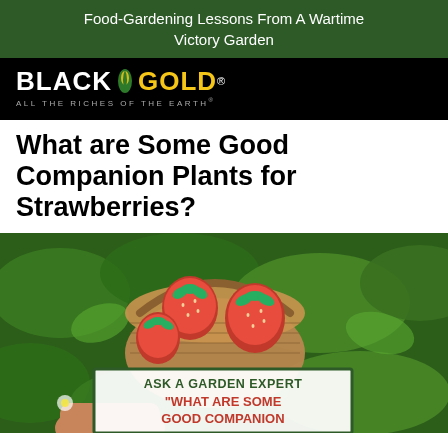Food-Gardening Lessons From A Wartime Victory Garden
[Figure (logo): Black Gold logo with leaf icon and tagline ALL THE RICHES OF THE EARTH on black background]
What are Some Good Companion Plants for Strawberries?
[Figure (photo): A basket of fresh red strawberries held by hand over green strawberry plants, with an overlay sign reading ASK A GARDEN EXPERT: WHAT ARE SOME GOOD COMPANION]